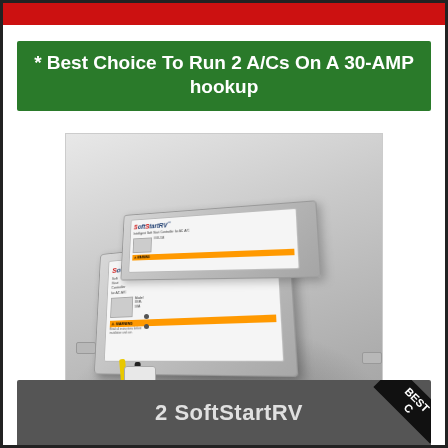* Best Choice To Run 2 A/Cs On A 30-AMP hookup
[Figure (photo): SoftStartRV product photo showing two stacked white/gray enclosure boxes with product labels, mounting tabs, and yellow/black wires with connector at bottom, on a gradient gray background]
2 SoftStartRV